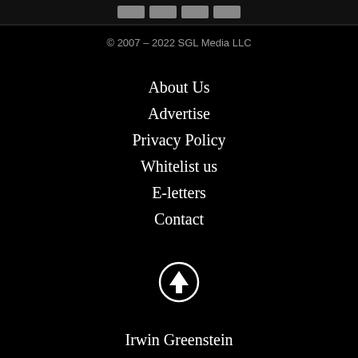[social media icon buttons]
© 2007 – 2022 SGL Media LLC
About Us
Advertise
Privacy Policy
Whitelist us
E-letters
Contact
[Figure (illustration): Up arrow circle icon (scroll to top button), white circle with upward arrow]
Irwin Greenstein
Publisher
Shotgun Life